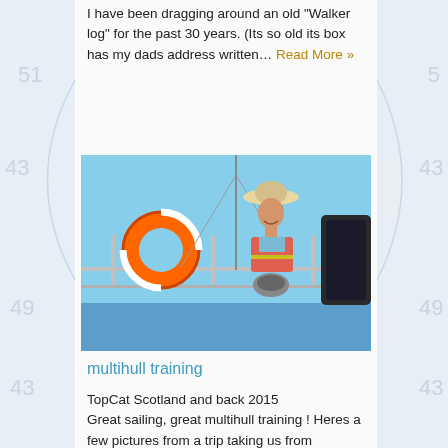I have been dragging around an old "Walker log" for the past 30 years. (Its so old its box has my dads address written… Read More »
[Figure (photo): A woman wearing a sun hat, sunglasses, and a red life vest sits on a sailing boat deck. An orange life ring is visible to her left. Blue sky and sea in the background. Metal railings and rigging visible.]
multihull training
TopCat Scotland and back 2015
Great sailing, great multihull training ! Heres a few pictures from a trip taking us from Plymouth along both south and north coasts of Cornwall